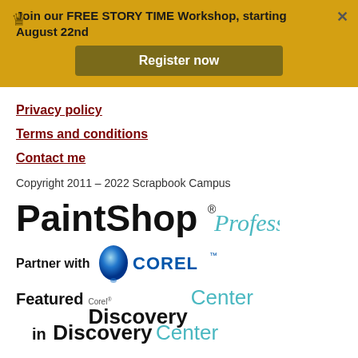Join our FREE STORY TIME Workshop, starting August 22nd
Register now
Privacy policy
Terms and conditions
Contact me
Copyright 2011 – 2022 Scrapbook Campus
[Figure (logo): PaintShop Professional logo with stylized text]
[Figure (logo): Partner with Corel logo featuring blue sphere and COREL text]
[Figure (logo): Featured in Corel Discovery Center logo]